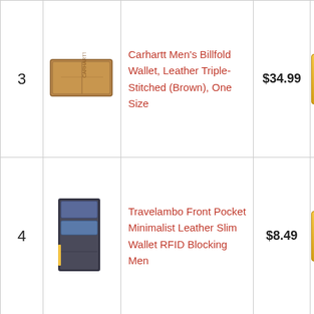| # | Image | Product | Price | Buy |
| --- | --- | --- | --- | --- |
| 3 | [image] | Carhartt Men's Billfold Wallet, Leather Triple-Stitched (Brown), One Size | $34.99 | Buy on Amazon |
| 4 | [image] | Travelambo Front Pocket Minimalist Leather Slim Wallet RFID Blocking Men... | $8.49 | Buy on Amazon |